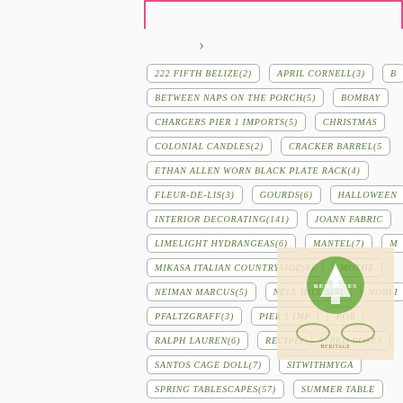222 FIFTH BELIZE(2)
APRIL CORNELL(3)
BETWEEN NAPS ON THE PORCH(5)
BOMBAY
CHARGERS PIER 1 IMPORTS(5)
CHRISTMAS
COLONIAL CANDLES(2)
CRACKER BARREL(5)
ETHAN ALLEN WORN BLACK PLATE RACK(4)
FLEUR-DE-LIS(3)
GOURDS(6)
HALLOWEEN
INTERIOR DECORATING(141)
JOANN FABRIC
LIMELIGHT HYDRANGEAS(6)
MANTEL(7)
MIKASA ITALIAN COUNTRYSIDE(6)
MOTHER
NEIMAN MARCUS(5)
NELL HILL'S(3)
NOBLE
PFALTZGRAFF(3)
PIER 1 IMPORTS
POR
RALPH LAUREN(6)
RECIPE(
RED ROSES
SANTOS CAGE DOLL(7)
SITWITHMYGA
SPRING TABLESCAPES(57)
SUMMER TABLE